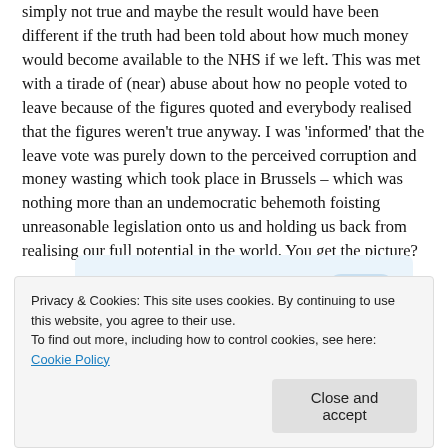simply not true and maybe the result would have been different if the truth had been told about how much money would become available to the NHS if we left. This was met with a tirade of (near) abuse about how no people voted to leave because of the figures quoted and everybody realised that the figures weren't true anyway. I was 'informed' that the leave vote was purely down to the perceived corruption and money wasting which took place in Brussels – which was nothing more than an undemocratic behemoth foisting unreasonable legislation onto us and holding us back from realising our full potential in the world. You get the picture?
[Figure (other): GET THE APP banner with WordPress logo icon on blue/light background]
Privacy & Cookies: This site uses cookies. By continuing to use this website, you agree to their use.
To find out more, including how to control cookies, see here: Cookie Policy
Close and accept